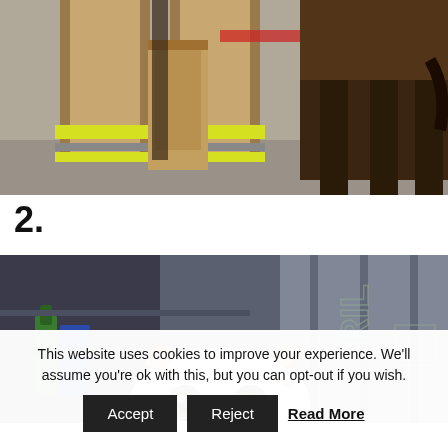[Figure (photo): Close-up photo of a firefighter in tan and yellow reflective gear standing near a wooden post and a dark animal (dog or horse) on pavement.]
2.
[Figure (photo): Photo of a small orange and white kitten peeking up from below, with blurred background of shelving, bottles, and structural elements. Watermark 'RIL' visible in lower right.]
This website uses cookies to improve your experience. We'll assume you're ok with this, but you can opt-out if you wish.